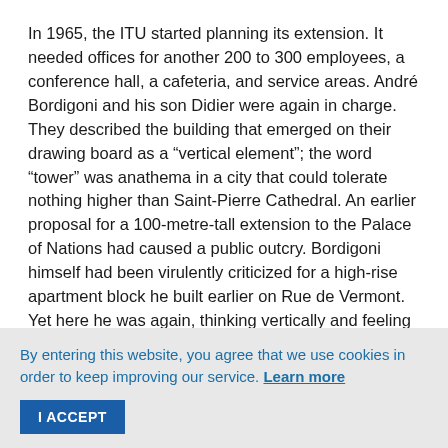In 1965, the ITU started planning its extension. It needed offices for another 200 to 300 employees, a conference hall, a cafeteria, and service areas. André Bordigoni and his son Didier were again in charge. They described the building that emerged on their drawing board as a “vertical element”; the word “tower” was anathema in a city that could tolerate nothing higher than Saint-Pierre Cathedral. An earlier proposal for a 100-metre-tall extension to the Palace of Nations had caused a public outcry. Bordigoni himself had been virulently criticized for a high-rise apartment block he built earlier on Rue de Vermont. Yet here he was again, thinking vertically and feeling justified in doing so, now that the square metre of
By entering this website, you agree that we use cookies in order to keep improving our service. Learn more
I ACCEPT